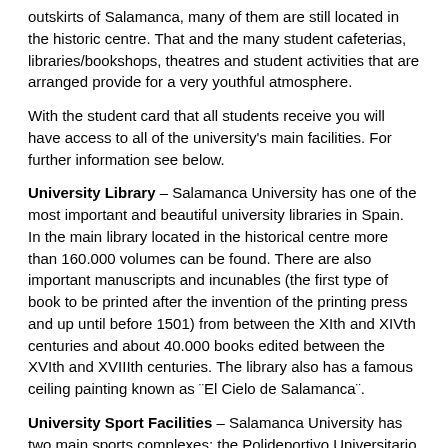outskirts of Salamanca, many of them are still located in the historic centre. That and the many student cafeterias, libraries/bookshops, theatres and student activities that are arranged provide for a very youthful atmosphere.
With the student card that all students receive you will have access to all of the university's main facilities. For further information see below.
University Library – Salamanca University has one of the most important and beautiful university libraries in Spain. In the main library located in the historical centre more than 160.000 volumes can be found. There are also important manuscripts and incunables (the first type of book to be printed after the invention of the printing press and up until before 1501) from between the XIth and XIVth centuries and about 40.000 books edited between the XVIth and XVIIIth centuries. The library also has a famous ceiling painting known as ¨El Cielo de Salamanca¨.
University Sport Facilities – Salamanca University has two main sports complexes; the Polideportivo Universitario "Miguel de Unamuno" and the Complejo Deportivo Salas Bajas. Here you can practice almost all types of indoor and outdoor sports, including athletics, tennis, football, badminton, rugby, volleyball, etc. Both complexes are located within walking distance of the old centre and it is possible to participate in sport activities at competition level or just as a hobby.